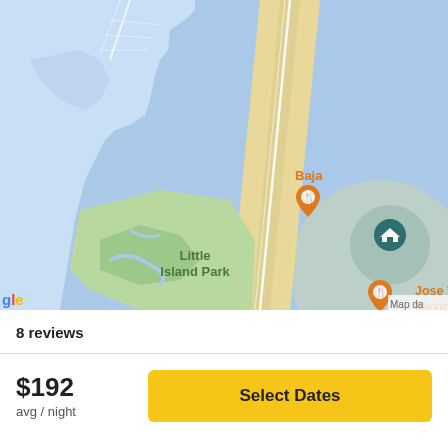[Figure (map): Google Maps view showing a coastal area with a barrier island. Landmarks labeled include 'Baja' (orange restaurant pin), 'Jose Tequilas Mexican Grill and Bar' (orange restaurant pin), a teal home-icon pin (selected location), and 'Little Island Park' in green text. The map shows blue water on both sides of a sandy barrier strip, with green wetland/park area. Partial 'Google' logo and 'Map da' watermark visible at bottom corners.]
8 reviews
$192
avg / night
Select Dates